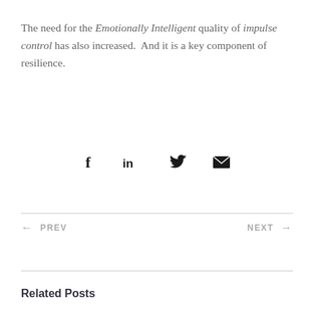The need for the Emotionally Intelligent quality of impulse control has also increased.  And it is a key component of resilience.
[Figure (infographic): Social share icons: Facebook (f), LinkedIn (in), Twitter (bird), Email (envelope)]
← PREV
NEXT →
Related Posts